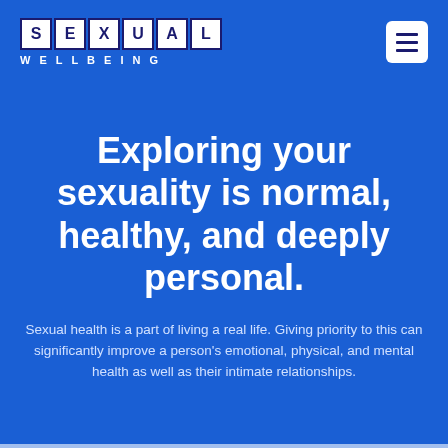[Figure (logo): Sexual Wellbeing logo: individual white letter tiles spelling SEXUAL with dark blue borders, and WELLBEING in white spaced letters below]
[Figure (other): Hamburger menu button — white rounded square with three dark blue horizontal lines]
Exploring your sexuality is normal, healthy, and deeply personal.
Sexual health is a part of living a real life. Giving priority to this can significantly improve a person's emotional, physical, and mental health as well as their intimate relationships.